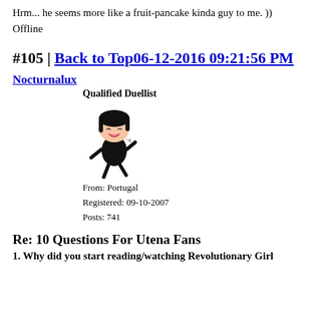Hrm... he seems more like a fruit-pancake kinda guy to me. ))
Offline
#105 | Back to Top06-12-2016 09:21:56 PM
Nocturnalux
Qualified Duellist
[Figure (illustration): Anime chibi character with black hair wearing black outfit]
From: Portugal
Registered: 09-10-2007
Posts: 741
Re: 10 Questions For Utena Fans
1. Why did you start reading/watching Revolutionary Girl